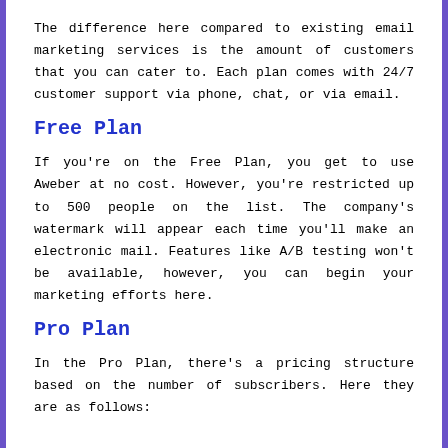The difference here compared to existing email marketing services is the amount of customers that you can cater to. Each plan comes with 24/7 customer support via phone, chat, or via email.
Free Plan
If you're on the Free Plan, you get to use Aweber at no cost. However, you're restricted up to 500 people on the list. The company's watermark will appear each time you'll make an electronic mail. Features like A/B testing won't be available, however, you can begin your marketing efforts here.
Pro Plan
In the Pro Plan, there's a pricing structure based on the number of subscribers. Here they are as follows: